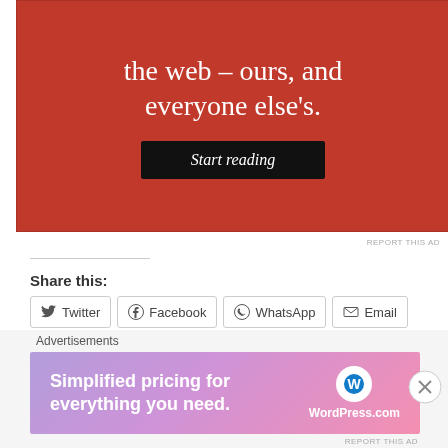[Figure (screenshot): Red advertisement banner with white serif text reading 'the web – ours, and everyone else's.' and a dark 'Start reading' button]
REPORT THIS AD
Share this:
Twitter  Facebook  WhatsApp  Email
[Figure (screenshot): Like button with star icon and 4 blogger avatar thumbnails]
4 bloggers like this.
Related
[Figure (screenshot): Bottom advertisement banner with gradient background showing 'Simplified pricing for everything you need.' and WordPress.com logo]
REPORT THIS AD